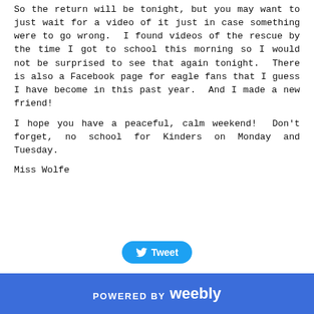So the return will be tonight, but you may want to just wait for a video of it just in case something were to go wrong. I found videos of the rescue by the time I got to school this morning so I would not be surprised to see that again tonight. There is also a Facebook page for eagle fans that I guess I have become in this past year. And I made a new friend!
I hope you have a peaceful, calm weekend! Don't forget, no school for Kinders on Monday and Tuesday.
Miss Wolfe
[Figure (other): Twitter Tweet button with bird icon]
POWERED BY weebly